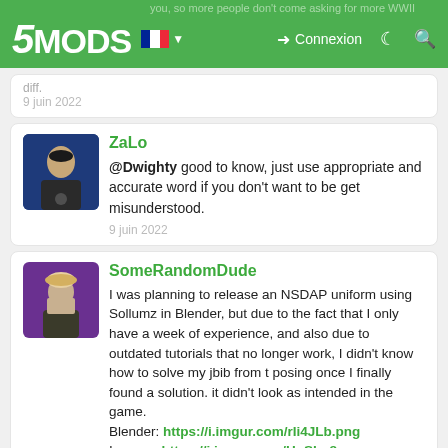5MODS — Connexion
you, so more people don't come asking for more WWII diff. 9 juin 2022
ZaLo
@Dwighty good to know, just use appropriate and accurate word if you don't want to be get misunderstood.
9 juin 2022
SomeRandomDude
I was planning to release an NSDAP uniform using Sollumz in Blender, but due to the fact that I only have a week of experience, and also due to outdated tutorials that no longer work, I didn't know how to solve my jbib from t posing once I finally found a solution. it didn't look as intended in the game.
Blender: https://i.imgur.com/rIi4JLb.png
Ingame: https://i.imgur.com/HqSIer8.png
29 juin 2022